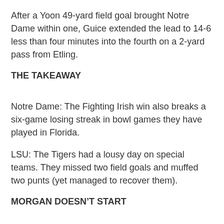After a Yoon 49-yard field goal brought Notre Dame within one, Guice extended the lead to 14-6 less than four minutes into the fourth on a 2-yard pass from Etling.
THE TAKEAWAY
Notre Dame: The Fighting Irish win also breaks a six-game losing streak in bowl games they have played in Florida.
LSU: The Tigers had a lousy day on special teams. They missed two field goals and muffed two punts (yet managed to recover them).
MORGAN DOESN’T START
Notre Dame linebacker Nyles Morgan did not start and had his captaincy stripped because of what the school called an